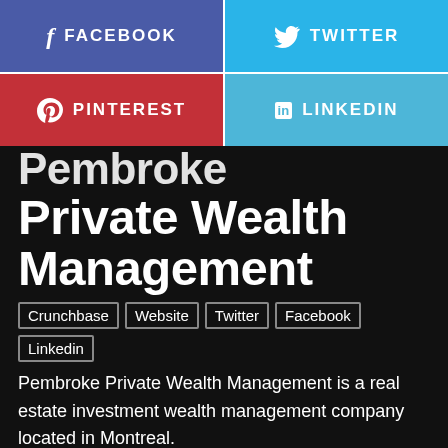[Figure (infographic): Four social media share buttons in a 2x2 grid: Facebook (blue-purple), Twitter (light blue), Pinterest (red), LinkedIn (light blue)]
Pembroke Private Wealth Management
Crunchbase
Website
Twitter
Facebook
Linkedin
Pembroke Private Wealth Management is a real estate investment wealth management company located in Montreal.